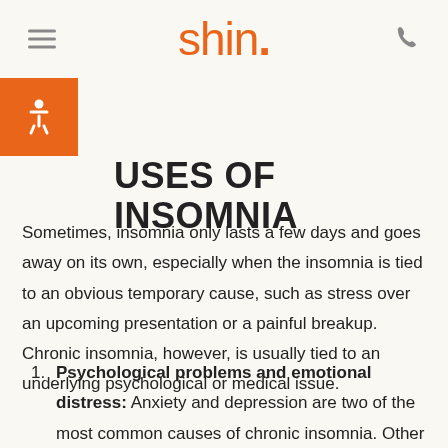shin.
CAUSES OF INSOMNIA
Sometimes, insomnia only lasts a few days and goes away on its own, especially when the insomnia is tied to an obvious temporary cause, such as stress over an upcoming presentation or a painful breakup. Chronic insomnia, however, is usually tied to an underlying psychological or medical issue.
Psychological problems and emotional distress: Anxiety and depression are two of the most common causes of chronic insomnia. Other common emotional and psychological
[Figure (logo): Orange accessibility wheelchair icon on orange square background]